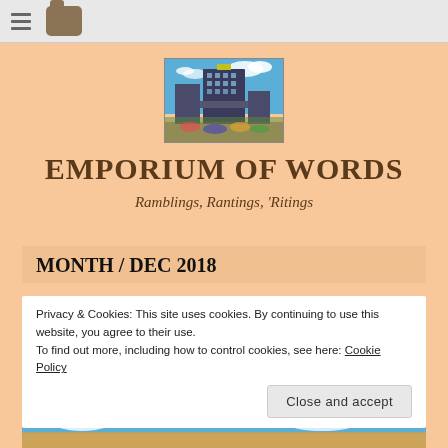Navigation bar with hamburger menu and folder icon
[Figure (photo): City building photograph with blue sky and clouds — appears to be a multi-story modern building in an urban setting]
EMPORIUM OF WORDS
Ramblings, Rantings, 'Ritings
MONTH / DEC 2018
Privacy & Cookies: This site uses cookies. By continuing to use this website, you agree to their use.
To find out more, including how to control cookies, see here: Cookie Policy
Close and accept
[Figure (photo): Partial bottom strip of an outdoor scene with blue sky and sandy/warm tones]